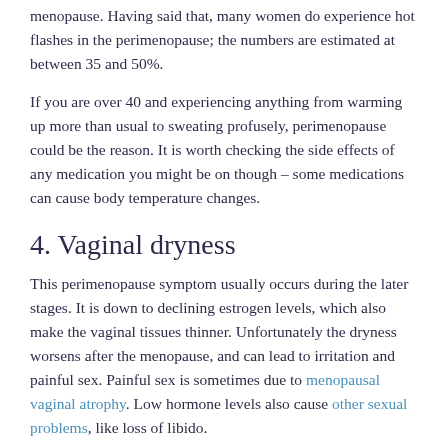menopause. Having said that, many women do experience hot flashes in the perimenopause; the numbers are estimated at between 35 and 50%.
If you are over 40 and experiencing anything from warming up more than usual to sweating profusely, perimenopause could be the reason. It is worth checking the side effects of any medication you might be on though – some medications can cause body temperature changes.
4. Vaginal dryness
This perimenopause symptom usually occurs during the later stages. It is down to declining estrogen levels, which also make the vaginal tissues thinner. Unfortunately the dryness worsens after the menopause, and can lead to irritation and painful sex. Painful sex is sometimes due to menopausal vaginal atrophy. Low hormone levels also cause other sexual problems, like loss of libido.
5. Sleep problems